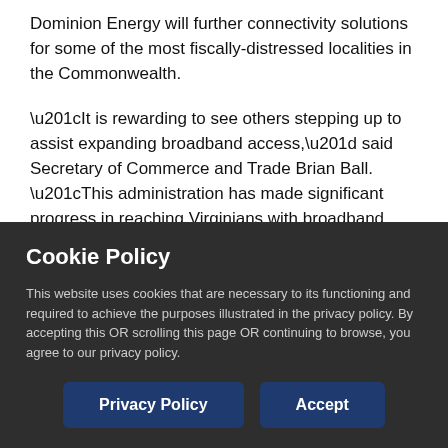Dominion Energy will further connectivity solutions for some of the most fiscally-distressed localities in the Commonwealth.
“It is rewarding to see others stepping up to assist expanding broadband access,” said Secretary of Commerce and Trade Brian Ball. “This administration has made significant progress in reaching Virginians with broadband access, and these investments from the Cameron Foundation, Facebook, Primis Bank, and Dominion Energy will help to further that mission.”
Cookie Policy
This website uses cookies that are necessary to its functioning and required to achieve the purposes illustrated in the privacy policy. By accepting this OR scrolling this page OR continuing to browse, you agree to our privacy policy.
Privacy Policy | Accept